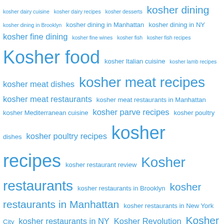Tag cloud: kosher dairy cuisine, kosher dairy recipes, kosher desserts, kosher dining, kosher dining in Brooklyn, kosher dining in Manhattan, kosher dining in NY, kosher fine dining, kosher fine wines, kosher fish, kosher fish recipes, Kosher food, kosher Italian cuisine, kosher lamb recipes, kosher meat dishes, kosher meat recipes, kosher meat restaurants, kosher meat restaurants in Manhattan, kosher Mediterranean cuisine, kosher parve recipes, kosher poultry dishes, kosher poultry recipes, kosher recipes, kosher restaurant review, Kosher restaurants, kosher restaurants in Brooklyn, kosher restaurants in Manhattan, kosher restaurants in New York City, kosher restaurants in NY, Kosher Revolution, Kosher Scene, kosher soup recipes, kosher wine, kosher wines, Lévana, Lévana Kirschenbaum, meat recipes, parve recipes, Passover, Pomegranate Supermarket, poultry, poultry recipes, Prime Grill, Royal Wine Corporation, Shavuos recipes, Susie Fishbein, The Kosher Scene, The Kosher Scene Radio Show, Uncategorized, Wine